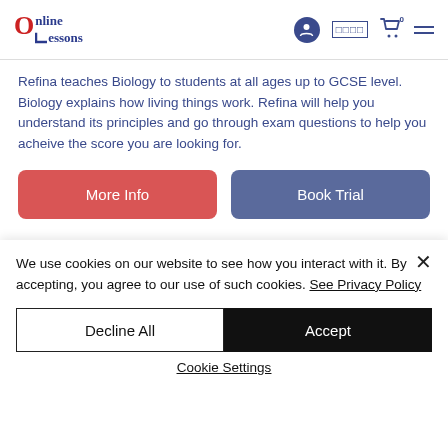Online Lessons
Refina teaches Biology to students at all ages up to GCSE level. Biology explains how living things work. Refina will help you understand its principles and go through exam questions to help you acheive the score you are looking for.
[Figure (other): More Info button (red/salmon rounded rectangle)]
[Figure (other): Book Trial button (blue/purple rounded rectangle)]
We use cookies on our website to see how you interact with it. By accepting, you agree to our use of such cookies. See Privacy Policy
Decline All
Accept
Cookie Settings